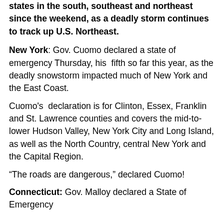states in the south, southeast and northeast since the weekend, as a deadly storm continues to track up U.S. Northeast.
New York: Gov. Cuomo declared a state of emergency Thursday, his fifth so far this year, as the deadly snowstorm impacted much of New York and the East Coast.
Cuomo's declaration is for Clinton, Essex, Franklin and St. Lawrence counties and covers the mid-to-lower Hudson Valley, New York City and Long Island, as well as the North Country, central New York and the Capital Region.
“The roads are dangerous,” declared Cuomo!
Connecticut: Gov. Malloy declared a State of Emergency